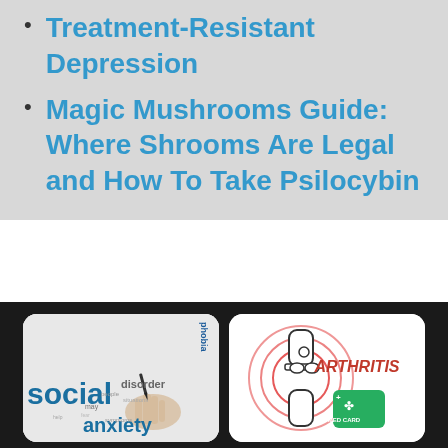Treatment-Resistant Depression
Magic Mushrooms Guide: Where Shrooms Are Legal and How To Take Psilocybin
[Figure (illustration): Word cloud image featuring 'social anxiety disorder phobia' text with a hand holding a pen, teal and dark blue colors on light gray background]
[Figure (illustration): Arthritis medical card illustration: knee joint diagram with red concentric circles, ARTHRITIS text in red italics, and green MED CARD badge with cannabis leaf]